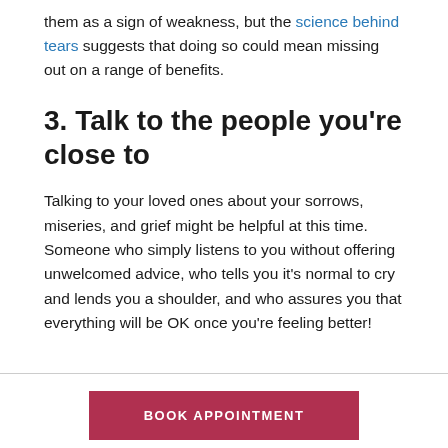them as a sign of weakness, but the science behind tears suggests that doing so could mean missing out on a range of benefits.
3. Talk to the people you're close to
Talking to your loved ones about your sorrows, miseries, and grief might be helpful at this time. Someone who simply listens to you without offering unwelcomed advice, who tells you it's normal to cry and lends you a shoulder, and who assures you that everything will be OK once you're feeling better!